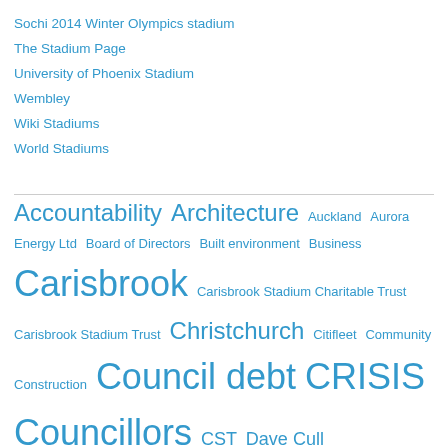Sochi 2014 Winter Olympics stadium
The Stadium Page
University of Phoenix Stadium
Wembley
Wiki Stadiums
World Stadiums
Accountability Architecture Auckland Aurora Energy Ltd Board of Directors Built environment Business Carisbrook Carisbrook Stadium Charitable Trust Carisbrook Stadium Trust Christchurch Citifleet Community Construction Council debt CRISIS Councillors CST Dave Cull DCC DCHL DCTL Delta Delta Utility Services Ltd Democracy Design Dunedin Dunedin City Council Dunedin City Holdings Ltd Dunedin Venues